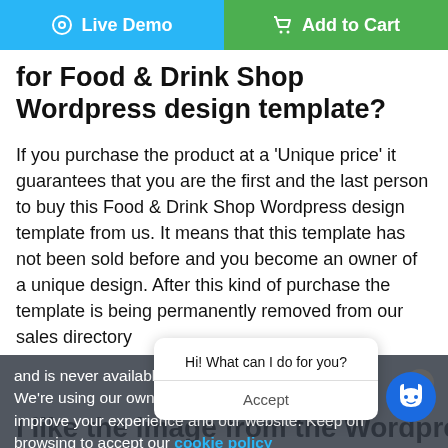[Figure (screenshot): Two buttons: 'Live Demo' (blue) and 'Add to Cart' (green)]
for Food & Drink Shop Wordpress design template?
If you purchase the product at a 'Unique price' it guarantees that you are the first and the last person to buy this Food & Drink Shop Wordpress design template from us. It means that this template has not been sold before and you become an owner of a unique design. After this kind of purchase the template is being permanently removed from our sales directory and is never available to other customers again. The Unique license allows you to develop websites or other projects based on this template. However, it can not be customized differently.
We're using our own and third-party cookies to improve your experience and our website. Keep on browsing to accept our cookie policy
Hi! What can I do for you?
Accept
I like the image from the Wordpress